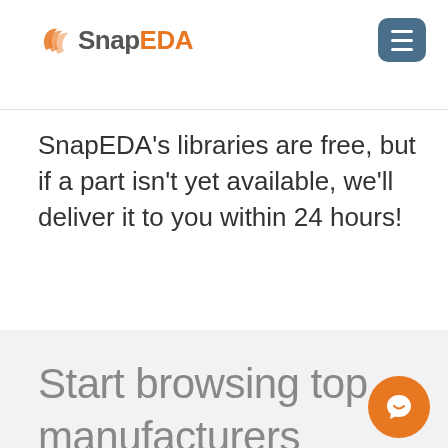SnapEDA
SnapEDA's libraries are free, but if a part isn't yet available, we'll deliver it to you within 24 hours!
Start browsing top manufacturers